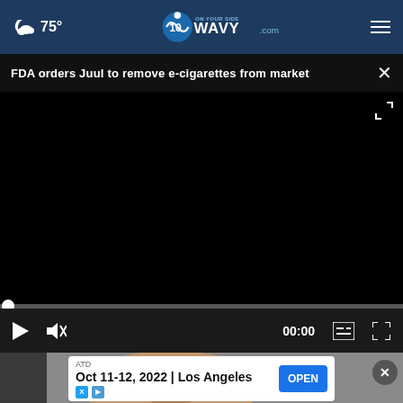75° WAVY.com On Your Side
FDA orders Juul to remove e-cigarettes from market
[Figure (screenshot): Video player showing a black screen with playback controls: play button, mute button, time display 00:00, captions button, and fullscreen button. A progress bar with a white dot marker is shown above the controls.]
[Figure (photo): Partial view of a person's head visible below the video player area against a grey background.]
ATD
Oct 11-12, 2022 | Los Angeles
OPEN